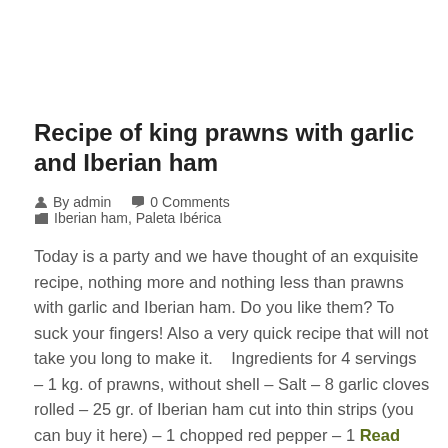Recipe of king prawns with garlic and Iberian ham
By admin   0 Comments   Iberian ham, Paleta Ibérica
Today is a party and we have thought of an exquisite recipe, nothing more and nothing less than prawns with garlic and Iberian ham. Do you like them? To suck your fingers! Also a very quick recipe that will not take you long to make it.    Ingredients for 4 servings – 1 kg. of prawns, without shell – Salt – 8 garlic cloves rolled – 25 gr. of Iberian ham cut into thin strips (you can buy it here) – 1 chopped red pepper – 1 Read More...